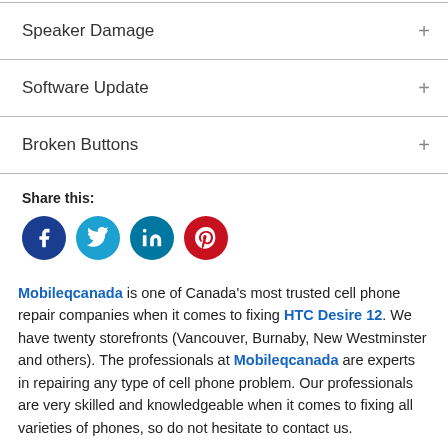Speaker Damage +
Software Update +
Broken Buttons +
Share this:
[Figure (infographic): Social sharing icons: Facebook (dark blue), Twitter (light blue), LinkedIn (teal), Pinterest (red)]
Mobileqcanada is one of Canada's most trusted cell phone repair companies when it comes to fixing HTC Desire 12. We have twenty storefronts (Vancouver, Burnaby, New Westminster and others). The professionals at Mobileqcanada are experts in repairing any type of cell phone problem. Our professionals are very skilled and knowledgeable when it comes to fixing all varieties of phones, so do not hesitate to contact us.